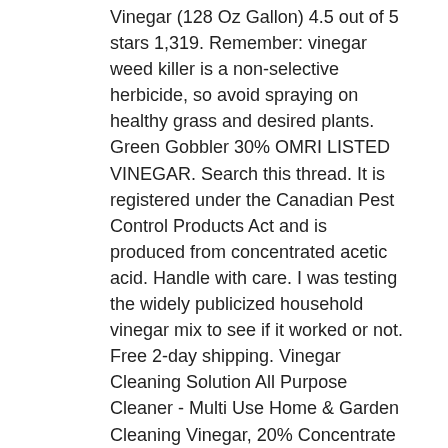Vinegar (128 Oz Gallon) 4.5 out of 5 stars 1,319. Remember: vinegar weed killer is a non-selective herbicide, so avoid spraying on healthy grass and desired plants. Green Gobbler 30% OMRI LISTED VINEGAR. Search this thread. It is registered under the Canadian Pest Control Products Act and is produced from concentrated acetic acid. Handle with care. I was testing the widely publicized household vinegar mix to see if it worked or not. Free 2-day shipping. Vinegar Cleaning Solution All Purpose Cleaner - Multi Use Home & Garden Cleaning Vinegar, 20% Concentrate - 20L Jug 4.5 out of 5 stars 19. 93 ($7.98/Ounce) Save more with Subscribe & Save. It is consumed in fresh or cooked form both as ripe and raw fruit. HORTICULTURAL VINEGAR Our HORTICULTURAL VINEGAR 20% is an excellent, non-selective herbicide (weed killer). Works fast (within a few hours) and degrades quickly in the environment. Ortho GroundClear Year Long Vegetation Killer1, 2 gal. Your email address will never be sold or distributed to a third party for any reason. The flowers are produced in a panicle or corymb up to 26 cm (10 in) long; each flower is small, pale green at first, then turning reddish, with five slender, … The